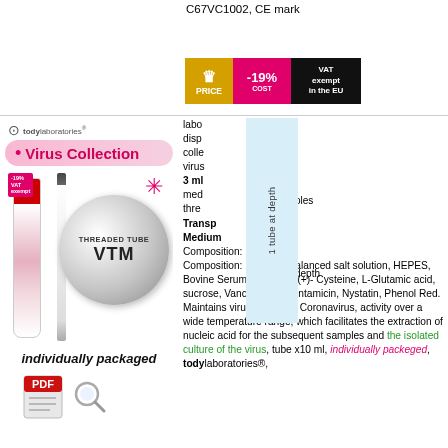C67VC1002, CE mark
[Figure (infographic): Promotional banner with crown/price icon, -19% cost badge in pink, and VAT exempt in the EU badge in black]
[Figure (photo): Tody Laboratories Virus Collection product image showing a threaded VTM tube, swab, and silver circle with THREADED TUBE VTM text, individually packaged label, with -19% cost badge]
[Figure (other): PDF icon and magnifying glass icon]
laboratory disposable collection virus 3 ml medium threaded Transport Medium Composition: Composition: D-Hank's balanced salt solution, HEPES, Bovine Serum Albumin, L(+)- Cysteine, L-Glutamic acid, sucrose, Vancomycin, Gentamicin, Nystatin, Phenol Red. Maintains virus, including Coronavirus, activity over a wide temperature range, which facilitates the extraction of nucleic acid for the subsequent samples and the isolated culture of the virus, tube x10 ml, individually packeged, todylaboratories®,